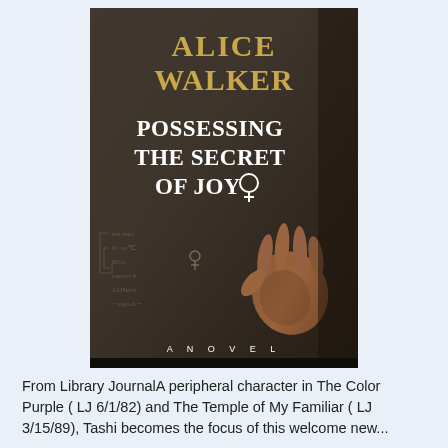[Figure (illustration): Book cover of 'Possessing the Secret of Joy' by Alice Walker. Dark stone-textured background with ancient script carvings. Title in large white serif text, author name in gold serif text at top. A human hand visible on the right side. At the bottom: 'A NOVEL' in spaced white capitals.]
From Library JournalA peripheral character in The Color Purple ( LJ 6/1/82) and The Temple of My Familiar ( LJ 3/15/89), Tashi becomes the focus of this welcome new...